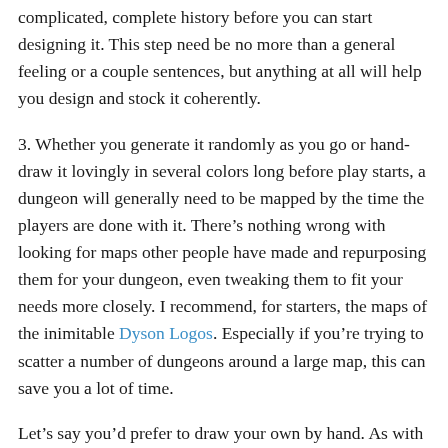complicated, complete history before you can start designing it. This step need be no more than a general feeling or a couple sentences, but anything at all will help you design and stock it coherently.
3. Whether you generate it randomly as you go or hand-draw it lovingly in several colors long before play starts, a dungeon will generally need to be mapped by the time the players are done with it. There's nothing wrong with looking for maps other people have made and repurposing them for your dungeon, even tweaking them to fit your needs more closely. I recommend, for starters, the maps of the inimitable Dyson Logos. Especially if you're trying to scatter a number of dungeons around a large map, this can save you a lot of time.
Let's say you'd prefer to draw your own by hand. As with writing, it's next to impossible to tell you how to draw a